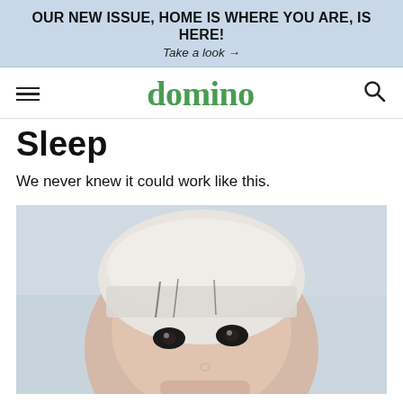OUR NEW ISSUE, HOME IS WHERE YOU ARE, IS HERE!
Take a look →
domino
Sleep
We never knew it could work like this.
[Figure (photo): Close-up photo of a young woman with short platinum/white hair and bangs, dark eyes, a small nose ring, holding something near her face. Background is light and blurred.]